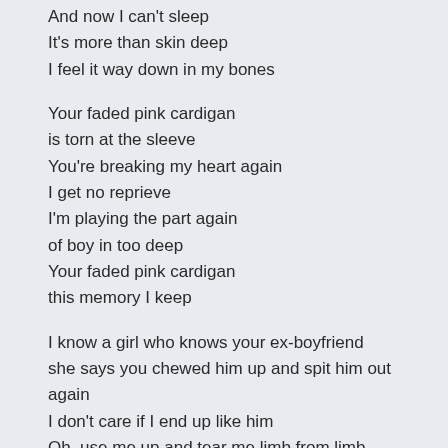And now I can't sleep
It's more than skin deep
I feel it way down in my bones
Your faded pink cardigan
is torn at the sleeve
You're breaking my heart again
I get no reprieve
I'm playing the part again
of boy in too deep
Your faded pink cardigan
this memory I keep
I know a girl who knows your ex-boyfriend
she says you chewed him up and spit him out again
I don't care if I end up like him
Oh, use me up and tear me limb from limb